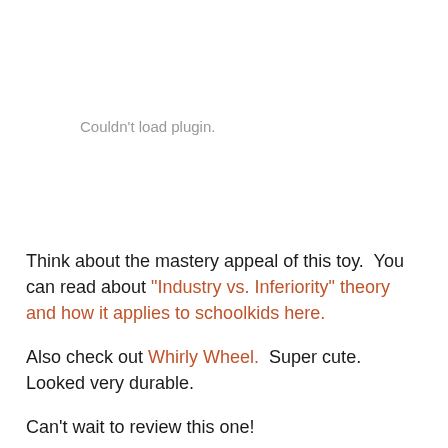Couldn't load plugin.
Think about the mastery appeal of this toy.  You can read about "Industry vs. Inferiority" theory and how it applies to schoolkids here.
Also check out Whirly Wheel.  Super cute. Looked very durable.
Can't wait to review this one!